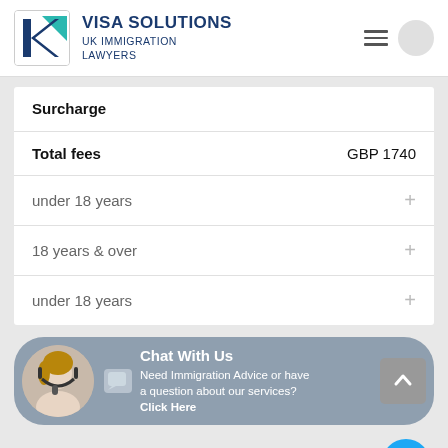[Figure (logo): Visa Solutions logo with teal and navy K shape]
VISA SOLUTIONS UK IMMIGRATION LAWYERS
|  |  |
| --- | --- |
| Surcharge |  |
| Total fees | GBP 1740 |
| under 18 years | + |
| 18 years & over | + |
| under 18 years | + |
[Figure (photo): Chat With Us widget with woman wearing headset. Text: Need Immigration Advice or have a question about our services? Click Here]
Contact form